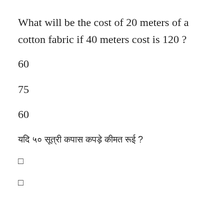What will be the cost of 20 meters of a cotton fabric if 40 meters cost is 120 ?
60
75
60
यदि ४० मीटर कपास कपड़े की कीमत १२० है ?
□
□